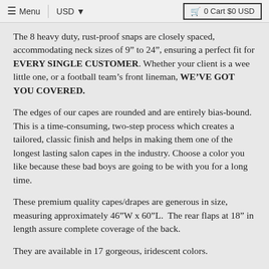≡ Menu  |  USD ▼   🛒 0 Cart $0 USD
The 8 heavy duty, rust-proof snaps are closely spaced, accommodating neck sizes of 9" to 24", ensuring a perfect fit for EVERY SINGLE CUSTOMER. Whether your client is a wee little one, or a football team's front lineman, WE'VE GOT YOU COVERED.
The edges of our capes are rounded and are entirely bias-bound. This is a time-consuming, two-step process which creates a tailored, classic finish and helps in making them one of the longest lasting salon capes in the industry. Choose a color you like because these bad boys are going to be with you for a long time.
These premium quality capes/drapes are generous in size, measuring approximately 46"W x 60"L.  The rear flaps at 18" in length assure complete coverage of the back.
They are available in 17 gorgeous, iridescent colors.